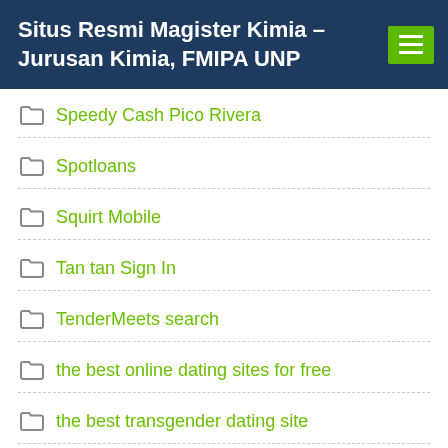Situs Resmi Magister Kimia – Jurusan Kimia, FMIPA UNP
Speedy Cash Pico Rivera
Spotloans
Squirt Mobile
Tan tan Sign In
TenderMeets search
the best online dating sites for free
the best transgender dating site